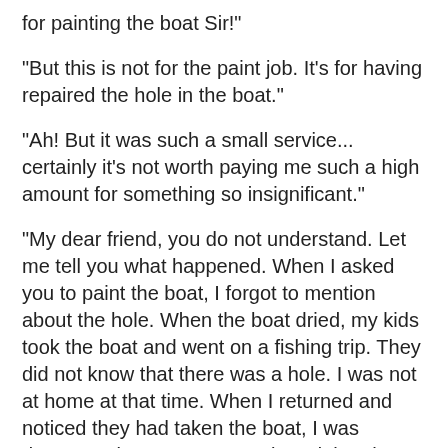for painting the boat Sir!"
"But this is not for the paint job. It's for having repaired the hole in the boat."
"Ah! But it was such a small service... certainly it's not worth paying me such a high amount for something so insignificant."
"My dear friend, you do not understand. Let me tell you what happened. When I asked you to paint the boat, I forgot to mention about the hole. When the boat dried, my kids took the boat and went on a fishing trip. They did not know that there was a hole. I was not at home at that time. When I returned and noticed they had taken the boat, I was desperate because I remembered that the boat had a hole. Imagine my relief and joy when I saw them returning from fishing. Then, I examined the boat and found that you had repaired the hole! You see, now, what you did? You saved the life of my children! I do not have enough money to pay your 'small' good deed."
You may have repaired numerous 'boat holes' along the